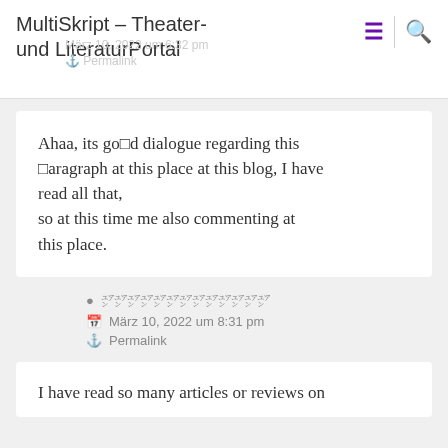MultiSkript – Theater- und LiteraturPortal
Ahaa, its good dialogue regarding this paragraph at this place at this blog, I have read all that,
so at this time me also commenting at this place.
März 10, 2022 um 8:31 pm
Permalink
I have read so many articles or reviews on